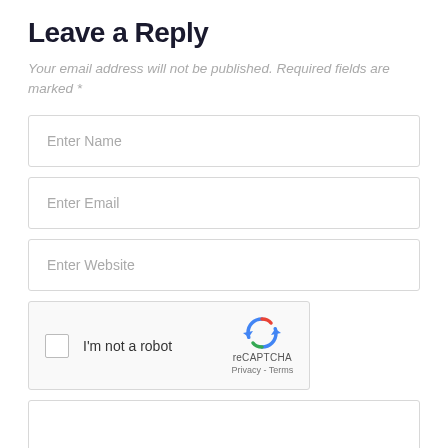Leave a Reply
Your email address will not be published. Required fields are marked *
Enter Name
Enter Email
Enter Website
[Figure (other): reCAPTCHA widget with checkbox labeled I'm not a robot and reCAPTCHA branding with Privacy and Terms links]